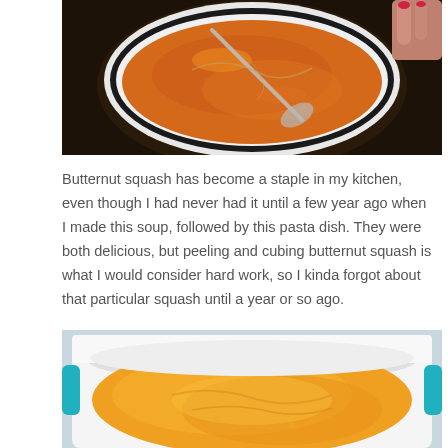[Figure (photo): Overhead photo of a white bowl with black rim containing orange butternut squash soup with a spoon, on a dark wooden table. A hand with red-painted nails is visible at the top right corner.]
Butternut squash has become a staple in my kitchen, even though I had never had it until a few year ago when I made this soup, followed by this pasta dish. They were both delicious, but peeling and cubing butternut squash is what I would consider hard work, so I kinda forgot about that particular squash until a year or so ago.
[Figure (photo): Close-up photo of a white Dutch oven pot with teal/blue handles containing smooth orange butternut squash soup. The interior of the pot is visible showing the creamy orange puree.]